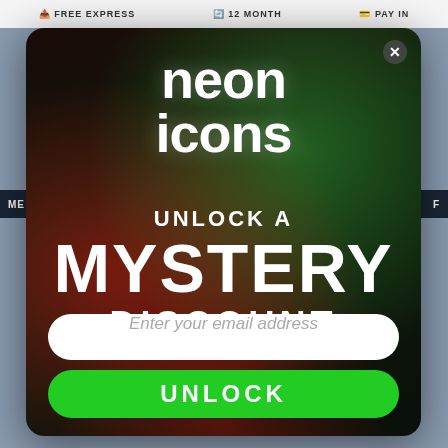FREE EXPRESS   12 MONTH   PAY IN
[Figure (screenshot): Modal popup overlay on an e-commerce website (Neon Icons). Background shows blurred website with navigation bar. Modal contains a dark background with red and green lighting effects behind a person, displaying the Neon Icons logo, promotional text 'UNLOCK A MYSTERY DISCOUNT', an email input field, and a green UNLOCK button.]
neon icons
UNLOCK A
MYSTERY
DISCOUNT
Enter your email address
UNLOCK